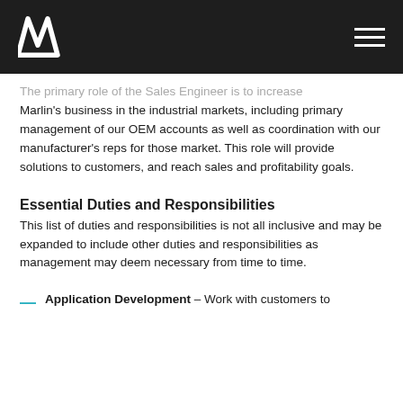Marlin logo and navigation header
The primary role of the Sales Engineer is to increase Marlin's business in the industrial markets, including primary management of our OEM accounts as well as coordination with our manufacturer's reps for those market. This role will provide solutions to customers, and reach sales and profitability goals.
Essential Duties and Responsibilities
This list of duties and responsibilities is not all inclusive and may be expanded to include other duties and responsibilities as management may deem necessary from time to time.
Application Development – Work with customers to